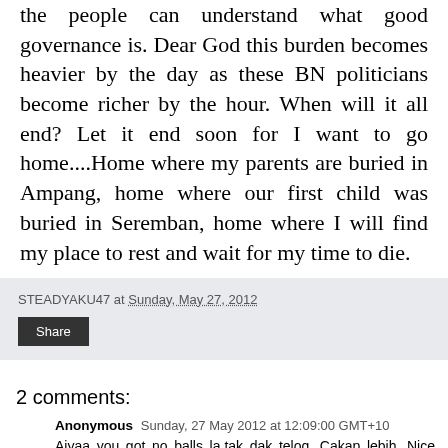the people can understand what good governance is. Dear God this burden becomes heavier by the day as these BN politicians become richer by the hour. When will it all end? Let it end soon for I want to go home....Home where my parents are buried in Ampang, home where our first child was buried in Seremban, home where I will find my place to rest and wait for my time to die.
STEADYAKU47 at Sunday, May 27, 2012
Share
2 comments:
Anonymous Sunday, 27 May 2012 at 12:09:00 GMT+10
Aiyaa you got no balls la.tak dak teloq. Cakap lebih. Nice face, shame about what's in the pants.